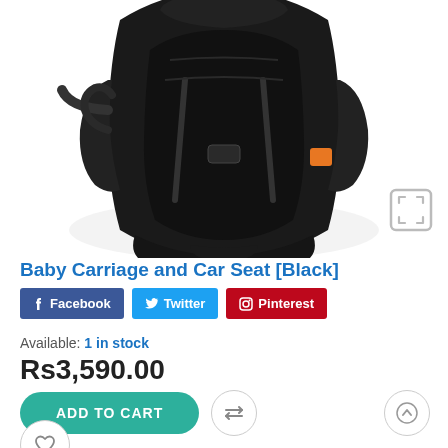[Figure (photo): Black baby car seat / carriage product photo on white background]
Baby Carriage and Car Seat [Black]
Facebook  Twitter  Pinterest
Available: 1 in stock
Rs3,590.00
ADD TO CART